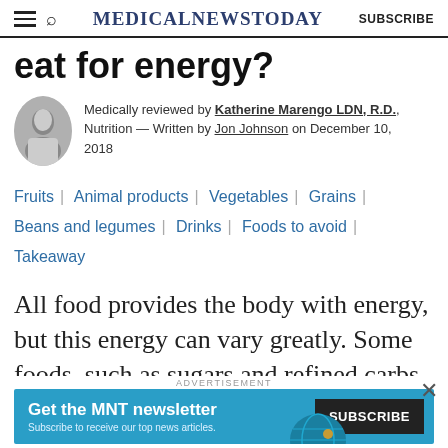MedicalNewsToday | SUBSCRIBE
eat for energy?
Medically reviewed by Katherine Marengo LDN, R.D., Nutrition — Written by Jon Johnson on December 10, 2018
Fruits | Animal products | Vegetables | Grains | Beans and legumes | Drinks | Foods to avoid | Takeaway
All food provides the body with energy, but this energy can vary greatly. Some foods, such as sugars and refined carbs,
[Figure (other): Advertisement banner: Get the MNT newsletter — Subscribe to receive our top news articles. SUBSCRIBE button.]